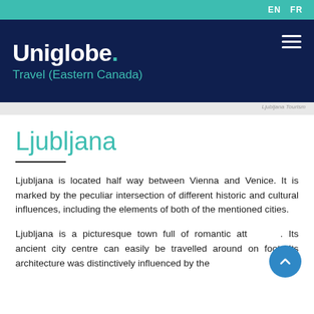EN  FR
Uniglobe. Travel (Eastern Canada)
Ljubljana Tourism
Ljubljana
Ljubljana is located half way between Vienna and Venice. It is marked by the peculiar intersection of different historic and cultural influences, including the elements of both of the mentioned cities.
Ljubljana is a picturesque town full of romantic attractions. Its ancient city centre can easily be travelled around on foot. Its architecture was distinctively influenced by the famous architect Plečnik, the city's most celebrated son, the d...